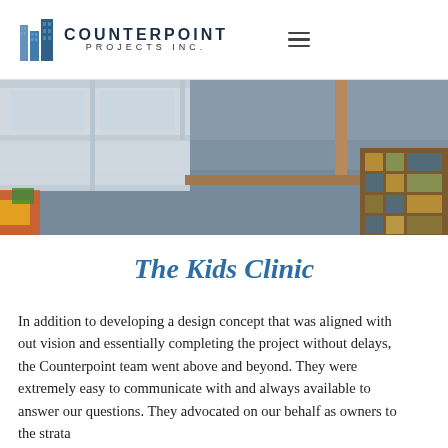COUNTERPOINT PROJECTS INC.
[Figure (photo): Interior of a children's clinic or classroom showing blue/grey linoleum floor, white storage shelving units, colourful toys on the left, and a patterned educational rug on the right.]
The Kids Clinic
In addition to developing a design concept that was aligned with out vision and essentially completing the project without delays, the Counterpoint team went above and beyond. They were extremely easy to communicate with and always available to answer our questions. They advocated on our behalf as owners to the strata